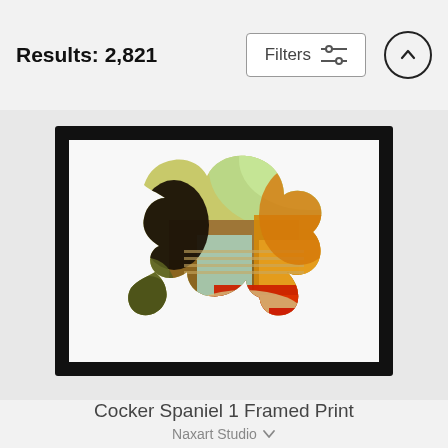Results: 2,821
Filters
[Figure (illustration): Cocker Spaniel silhouette filled with abstract colorful collage artwork (browns, greens, orange, red, yellow tones), displayed in a black frame on white background]
Cocker Spaniel 1 Framed Print
Naxart Studio
$74
$59